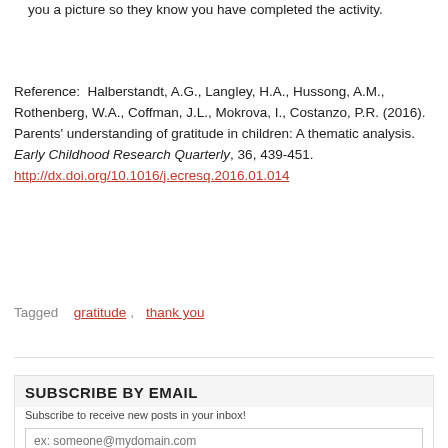you a picture so they know you have completed the activity.
Reference:  Halberstandt, A.G., Langley, H.A., Hussong, A.M., Rothenberg, W.A., Coffman, J.L., Mokrova, I., Costanzo, P.R. (2016). Parents' understanding of gratitude in children: A thematic analysis. Early Childhood Research Quarterly, 36, 439-451. http://dx.doi.org/10.1016/j.ecresq.2016.01.014
Tagged  gratitude,  thank you
SUBSCRIBE BY EMAIL
Subscribe to receive new posts in your inbox!